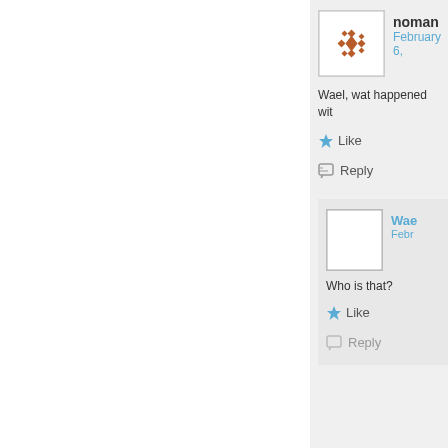[Figure (screenshot): Comment section of a blog or social platform. Shows two comments: one by 'noman' dated February 6, with decorative avatar, text 'Wael, wat happened wit...' (truncated), Like and Reply buttons. Nested reply by 'Wael' dated 'Febr...' (truncated), blank avatar, text 'Who is that?', Like and Reply buttons.]